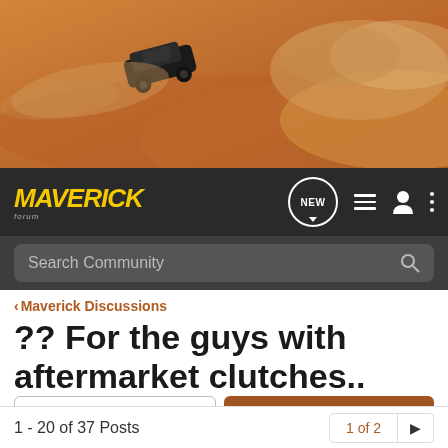[Figure (photo): Off-road vehicle kicking up sand/dust cloud in desert terrain, hero banner image for Maverick forum]
MAVERICK forum navigation bar with logo, NEW button, list icon, user icon, more options icon
Search Community
< Maverick Discussions
?? For the guys with aftermarket clutches..
→ Jump to Latest
+ Follow
1 - 20 of 37 Posts
1 of 2